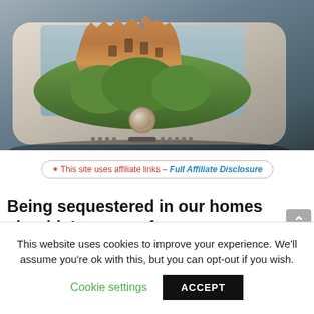[Figure (photo): A smartphone lying flat on a dark surface with a castle and trees appearing to emerge from the phone screen in a 3D effect.]
* This site uses affiliate links – Full Affiliate Disclosure
Being sequestered in our homes shouldn't stop us from experiencing the world. Thankfully, we have
This website uses cookies to improve your experience. We'll assume you're ok with this, but you can opt-out if you wish.
Cookie settings    ACCEPT